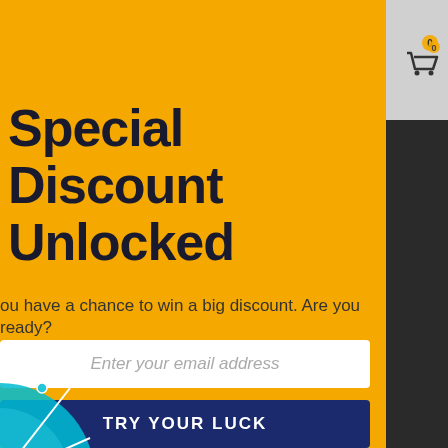Not today  X
Special Discount Unlocked
ou have a chance to win a big discount. Are you ready?
Enter your email address
TRY YOUR LUCK
s
can spin the wheel only once.
ou win, you can claim your coupon!
[Figure (illustration): Partial spin wheel visible at bottom left corner, teal/turquoise colored]